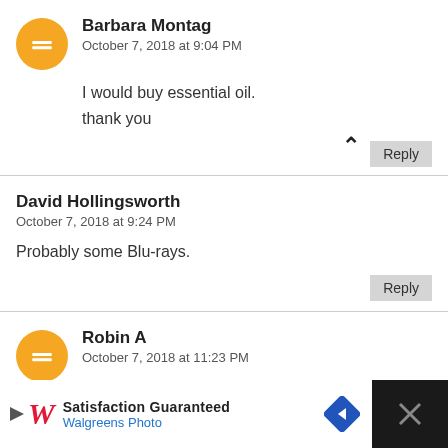Barbara Montag
October 7, 2018 at 9:04 PM
I would buy essential oil.
thank you
Reply
David Hollingsworth
October 7, 2018 at 9:24 PM
Probably some Blu-rays.
Reply
Robin A
October 7, 2018 at 11:23 PM
[Figure (other): Walgreens Photo advertisement banner at bottom of page with logo, 'Satisfaction Guaranteed' text, navigation arrow diamond icon, and close button]